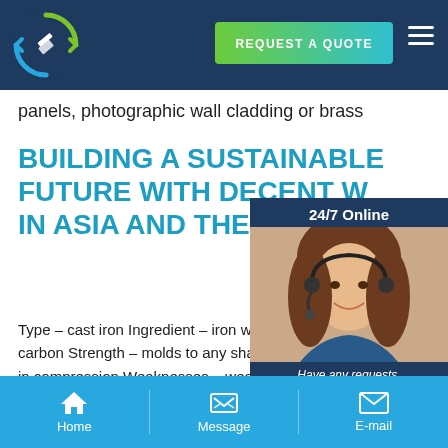[Figure (logo): Circular arrows logo with blue and green colors on dark navy header bar]
REQUEST A QUOTE
panels, photographic wall cladding or brass
BUILDING A SUSTAINABLE FUTURE WITH DECENT W... IN ASIA AND THE PACIFIC
Type – cast iron Ingredient – iron wit... carbon Strength – molds to any shap... in compression Weaknesses – weake... steel in abrasive material in topping t... produced un-slippery surface for pav...
[Figure (photo): Woman with headset smiling, customer service representative photo next to 24/7 Online chat widget]
24/7 Online
Have any requests, click here.
Quotation
Home   Message   E-mail